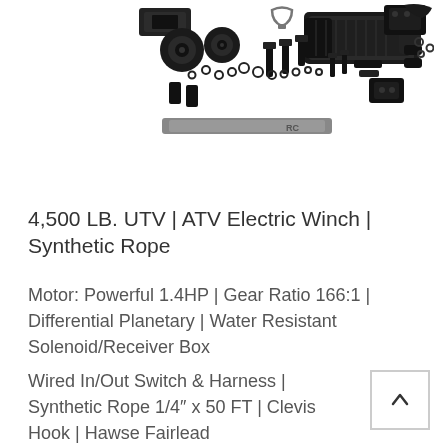[Figure (photo): Product photo of a 4,500 LB UTV/ATV electric winch kit with synthetic rope, showing scattered components including winch unit, bolts, washers, rings, fairlead, hook, strap, and wiring on white background]
4,500 LB. UTV | ATV Electric Winch | Synthetic Rope
Motor: Powerful 1.4HP | Gear Ratio 166:1 | Differential Planetary | Water Resistant Solenoid/Receiver Box
Wired In/Out Switch & Harness | Synthetic Rope 1/4″ x 50 FT | Clevis Hook | Hawse Fairlead